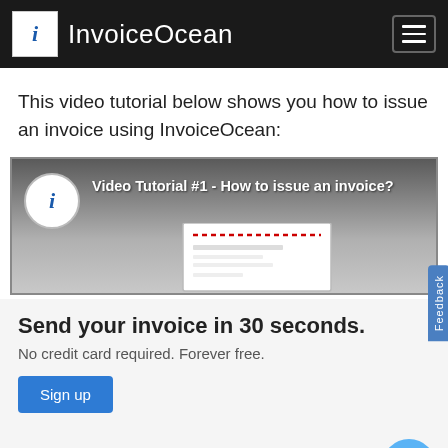InvoiceOcean
This video tutorial below shows you how to issue an invoice using InvoiceOcean:
[Figure (screenshot): Video Tutorial #1 - How to issue an invoice? YouTube-style thumbnail with InvoiceOcean logo and invoice preview image]
We use cookies (cookies) to collect information related to the using of the site. The cookies we use allow you to ... er logging in. hanism in your our website tings for will
Send your invoice in 30 seconds.
No credit card required. Forever free.